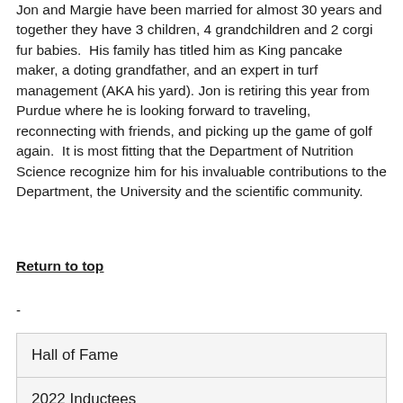Jon and Margie have been married for almost 30 years and together they have 3 children, 4 grandchildren and 2 corgi fur babies.  His family has titled him as King pancake maker, a doting grandfather, and an expert in turf management (AKA his yard). Jon is retiring this year from Purdue where he is looking forward to traveling, reconnecting with friends, and picking up the game of golf again.  It is most fitting that the Department of Nutrition Science recognize him for his invaluable contributions to the Department, the University and the scientific community.
Return to top
-
| Hall of Fame |
| 2022 Inductees |
| 2021 Inductees |